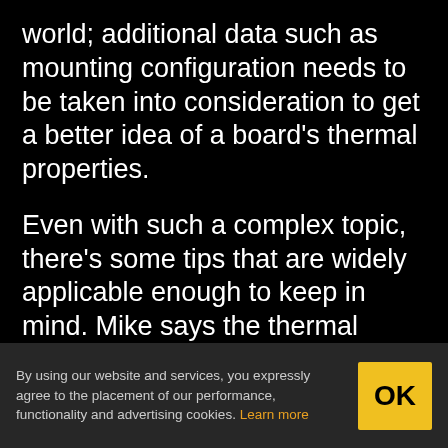world; additional data such as mounting configuration needs to be taken into consideration to get a better idea of a board's thermal properties.
Even with such a complex topic, there's some tips that are widely applicable enough to keep in mind. Mike says the thermal properties of the substrate are always going to be poor compared to copper, so using internal copper planes can help conduct heat through the board. When dealing with SMD parts that produce a lot of heat, large copper plated vias
By using our website and services, you expressly agree to the placement of our performance, functionality and advertising cookies. Learn more